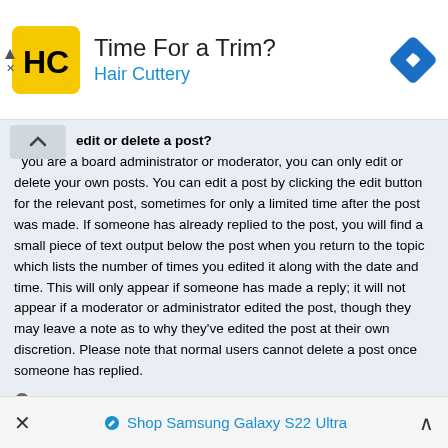[Figure (screenshot): Advertisement banner for Hair Cuttery with yellow logo, text 'Time For a Trim?' and 'Hair Cuttery', and a blue navigation arrow icon]
edit or delete a post?
you are a board administrator or moderator, you can only edit or delete your own posts. You can edit a post by clicking the edit button for the relevant post, sometimes for only a limited time after the post was made. If someone has already replied to the post, you will find a small piece of text output below the post when you return to the topic which lists the number of times you edited it along with the date and time. This will only appear if someone has made a reply; it will not appear if a moderator or administrator edited the post, though they may leave a note as to why they've edited the post at their own discretion. Please note that normal users cannot delete a post once someone has replied.
Top
How do I add a signature to my post?
To add a signature to a post you must first create one via your User Control Panel. Once created, you can check the Attach a signature box on the posting form to add your signature. You can also add a signature by default to all your posts by checking the appropriate radio button in the User Control Panel. If you do so, you can still prevent a signature being added to individual posts by un
Shop Samsung Galaxy S22 Ultra